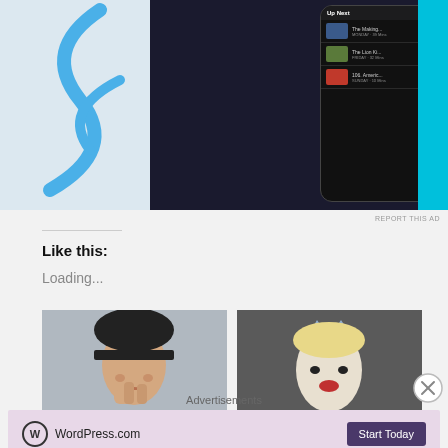[Figure (screenshot): Apple iPhone app UI showing 'Up Next' podcast queue with two phone mockups side by side, set against a dark blue background with light blue curved graphic on left]
REPORT THIS AD
Like this:
Loading...
[Figure (photo): Photo of Shoko Rice, a woman with a dark bob haircut holding her hand to her mouth]
SHOKO RICE
[Figure (photo): Photo of artist Crown, a blonde woman wearing a spiked crown, with text 'CROWN' overlaid]
CROWN
Advertisements
[Figure (screenshot): WordPress.com advertisement with logo and 'Start Today' button on pink/lavender background]
REPORT THIS AD